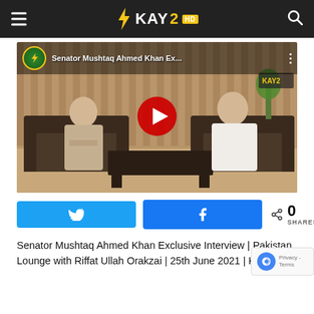KAY2 HD
[Figure (screenshot): YouTube video thumbnail showing two men seated in a TV studio interview setting. Title overlay reads 'Senator Mushtaq Ahmed Khan Ex...' with KAY2 channel icon and logo visible.]
0 SHARES
Senator Mushtaq Ahmed Khan Exclusive Interview | Pakistan Lounge with Riffat Ullah Orakzai | 25th June 2021 | K2 TV